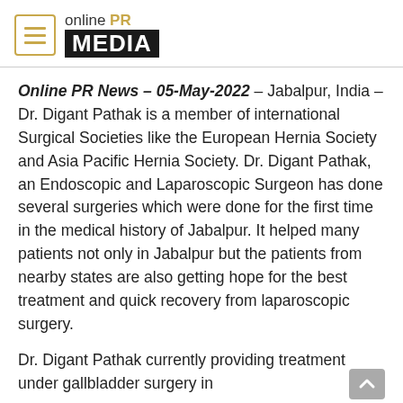[Figure (logo): Online PR Media logo with hamburger menu icon]
Online PR News – 05-May-2022 – Jabalpur, India – Dr. Digant Pathak is a member of international Surgical Societies like the European Hernia Society and Asia Pacific Hernia Society. Dr. Digant Pathak, an Endoscopic and Laparoscopic Surgeon has done several surgeries which were done for the first time in the medical history of Jabalpur. It helped many patients not only in Jabalpur but the patients from nearby states are also getting hope for the best treatment and quick recovery from laparoscopic surgery.
Dr. Digant Pathak currently providing treatment under gallbladder surgery in